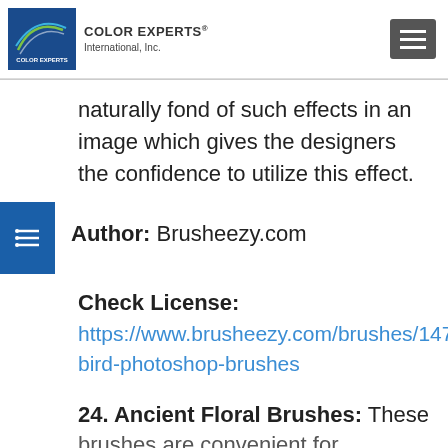COLOR EXPERTS International, Inc.
naturally fond of such effects in an image which gives the designers the confidence to utilize this effect.
Author: Brusheezy.com
Check License: https://www.brusheezy.com/brushes/1473-bird-photoshop-brushes
24. Ancient Floral Brushes: These brushes are convenient for designing